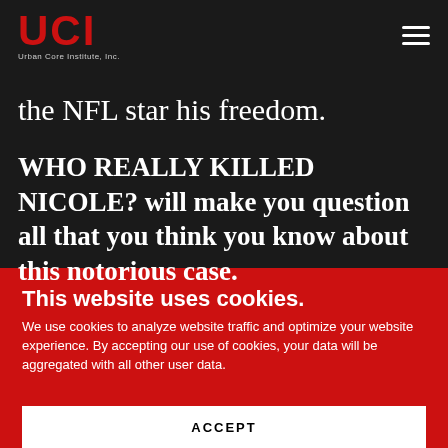UCI Urban Core Institute, Inc.
the NFL star his freedom.
WHO REALLY KILLED NICOLE? will make you question all that you think you know about this notorious case.
This website uses cookies.
We use cookies to analyze website traffic and optimize your website experience. By accepting our use of cookies, your data will be aggregated with all other user data.
ACCEPT